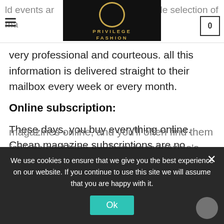Privilege Fashion — navigation header with hamburger menu, logo, and cart (0)
ld events ar... it. A wide selection of ma... nsidered to be very professional and courteous. all this information is delivered straight to their mailbox every week or every month.
Online subscription:
These days, you buy everything online. Cheap magazine subscriptions are no exception. By subscribing to a magazine online, you have instant access to great articles in the print edition as well as content published outside the regular publication cycle. Publishers are offering nearly all their magazines online, and you'll often find them for less cost than a... favorite magazine's na... vorite search en... and pick the deal that works... you.
We use cookies to ensure that we give you the best experience on our website. If you continue to use this site we will assume that you are happy with it.